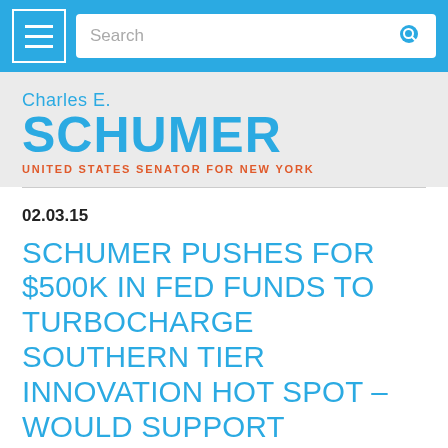[Figure (screenshot): Navigation bar with hamburger menu icon and search bar on blue background]
[Figure (logo): Charles E. Schumer United States Senator for New York logo]
02.03.15
SCHUMER PUSHES FOR $500K IN FED FUNDS TO TURBOCHARGE SOUTHERN TIER INNOVATION HOT SPOT – WOULD SUPPORT ENTREPRENEURS